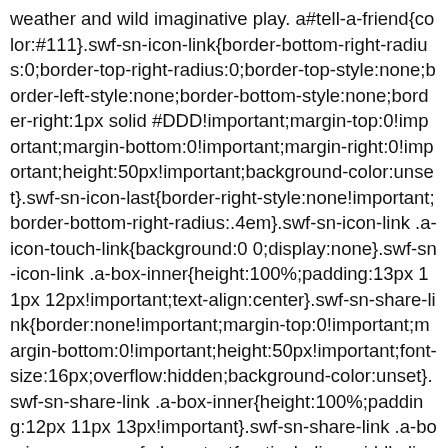weather and wild imaginative play. a#tell-a-friend{color:#111}.swf-sn-icon-link{border-bottom-right-radius:0;border-top-right-radius:0;border-top-style:none;border-left-style:none;border-bottom-style:none;border-right:1px solid #DDD!important;margin-top:0!important;margin-bottom:0!important;margin-right:0!important;height:50px!important;background-color:unset}.swf-sn-icon-last{border-right-style:none!important;border-bottom-right-radius:.4em}.swf-sn-icon-link .a-icon-touch-link{background:0 0;display:none}.swf-sn-icon-link .a-box-inner{height:100%;padding:13px 11px 12px!important;text-align:center}.swf-sn-share-link{border:none!important;margin-top:0!important;margin-bottom:0!important;height:50px!important;font-size:16px;overflow:hidden;background-color:unset}.swf-sn-share-link .a-box-inner{height:100%;padding:12px 11px 13px!important}.swf-sn-share-link .a-box-inner span.swf-share-text{vertical-align:middle;line-height:25px}.swf-share-box{margin-right:0!important;width:17%!important}.swf-share-box img{vertical-